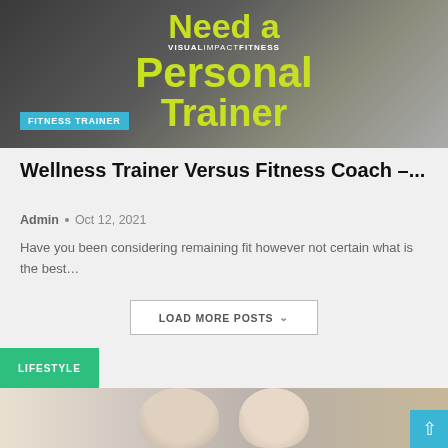[Figure (photo): Fitness trainer promotional image with 'Need a Personal Trainer' text overlay in yellow-green on dark background, with VISUAL IMPACT FITNESS branding]
FITNESS TRAINER
Wellness Trainer Versus Fitness Coach –...
Admin • Oct 12, 2021
Have you been considering remaining fit however not certain what is the best…
LOAD MORE POSTS
LIFESTYLE
[Figure (photo): Two people - a bald person and a woman with brown hair - photographed together]